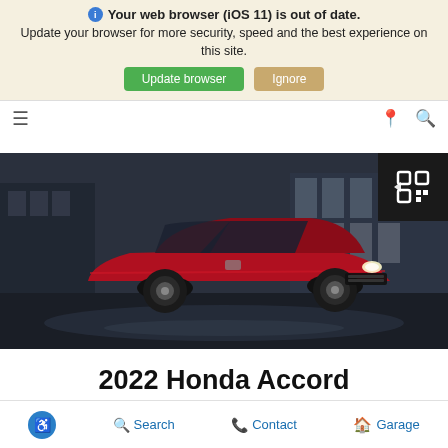Your web browser (iOS 11) is out of date. Update your browser for more security, speed and the best experience on this site.
Update browser | Ignore
[Figure (photo): Red 2022 Honda Accord sedan driving on a wet road at night with a modern building in the background. Dark color scheme with rainwater reflections on the road.]
2022 Honda Accord
Accessibility icon | Search | Contact | Garage